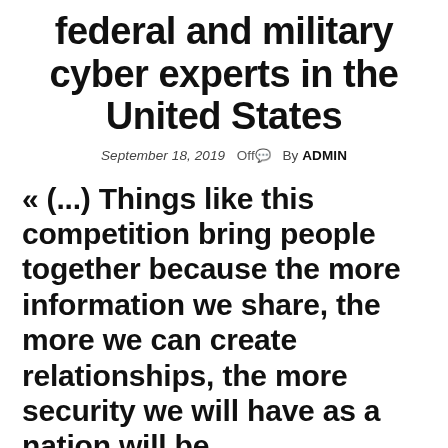federal and military cyber experts in the United States
September 18, 2019  Off  By ADMIN
« (...) Things like this competition bring people together because the more information we share, the more we can create relationships, the more security we will have as a nation will be strengthened."